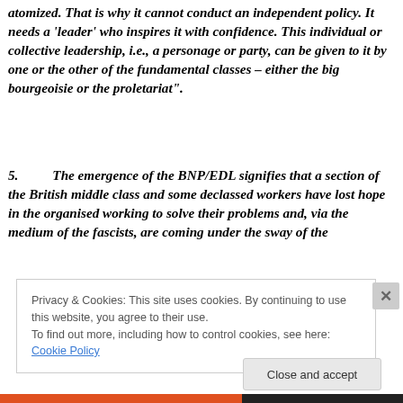atomized. That is why it cannot conduct an independent policy. It needs a 'leader' who inspires it with confidence. This individual or collective leadership, i.e., a personage or party, can be given to it by one or the other of the fundamental classes – either the big bourgeoisie or the proletariat".
5.          The emergence of the BNP/EDL signifies that a section of the British middle class and some declassed workers have lost hope in the organised working to solve their problems and, via the medium of the fascists, are coming under the sway of the
Privacy & Cookies: This site uses cookies. By continuing to use this website, you agree to their use.
To find out more, including how to control cookies, see here: Cookie Policy
Close and accept